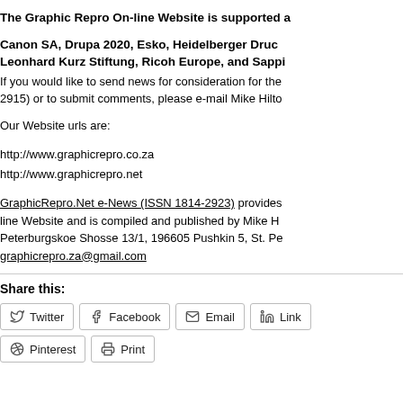The Graphic Repro On-line Website is supported a
Canon SA,  Drupa 2020,  Esko,   Heidelberger Druc
Leonhard Kurz Stiftung, Ricoh Europe, and Sappi
If you would like to send news for consideration for the
2915) or to submit comments, please e-mail Mike Hilto
Our Website urls are:
http://www.graphicrepro.co.za
http://www.graphicrepro.net
GraphicRepro.Net e-News (ISSN 1814-2923)  provides
line Website and is  compiled and published by Mike H
Peterburgskoe Shosse 13/1, 196605 Pushkin 5, St. Pe
graphicrepro.za@gmail.com
Share this:
Twitter  Facebook  Email  Link
Pinterest  Print